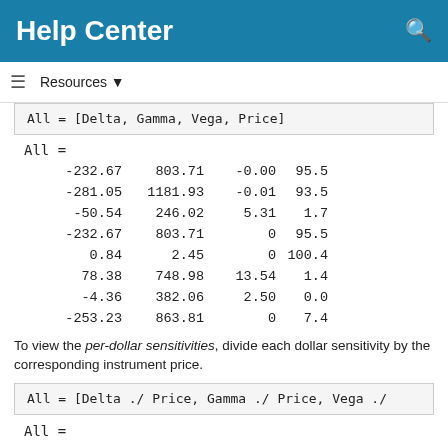Help Center
Resources ▼
All = [Delta, Gamma, Vega, Price]
All =
| -232.67 | 803.71 | -0.00 | 95.5 |
| -281.05 | 1181.93 | -0.01 | 93.5 |
| -50.54 | 246.02 | 5.31 | 1.7 |
| -232.67 | 803.71 | 0 | 95.5 |
| 0.84 | 2.45 | 0 | 100.4 |
| 78.38 | 748.98 | 13.54 | 1.4 |
| -4.36 | 382.06 | 2.50 | 0.0 |
| -253.23 | 863.81 | 0 | 7.4 |
To view the per-dollar sensitivities, divide each dollar sensitivity by the corresponding instrument price.
All = [Delta ./ Price, Gamma ./ Price, Vega ./
All =